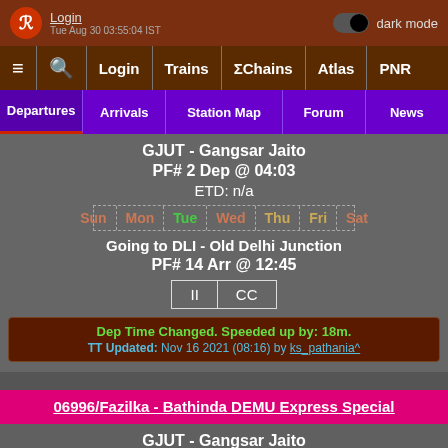Login | dark mode | Tue Aug 30 03:55:04 IST
≡ 🔍 Login | Trains | ΣChains | Atlas | PNR
Departures | Arrivals | Station Map | Forum | News
GJUT - Gangsar Jaito
PF# 2 Dep @ 04:03
ETD: n/a
Sun Mon Tue Wed Thu Fri Sat
Going to DLI - Old Delhi Junction
PF# 14 Arr @ 12:45
II  CC
Dep Time Changed. Speeded up by: 18m. TT Updated: Nov 16 2021 (08:16) by ks_pathania^
06996/Fazilka - Bathinda DEMU Express Special
GJUT - Gangsar Jaito
PF# -- Dep @ 04:40
ETD: n/a